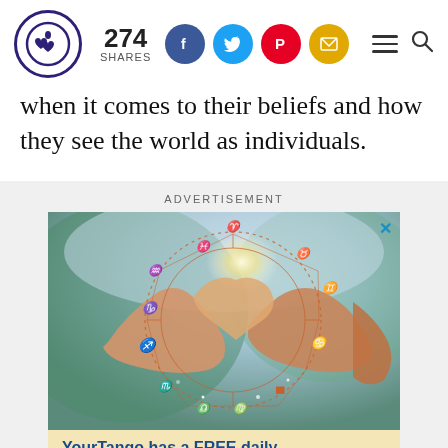274 SHARES [social share icons: Facebook, Twitter, Pinterest, Email] [hamburger menu] [search]
when it comes to their beliefs and how they see the world as individuals.
ADVERTISEMENT
[Figure (photo): Advertisement image showing two hands forming a heart shape with a zodiac wheel overlay and astrological symbols, with a bright light in the center. Below the image is text: 'YourTango has a FREE daily horoscopes newsletter you can']
YourTango has a FREE daily horoscopes newsletter you can